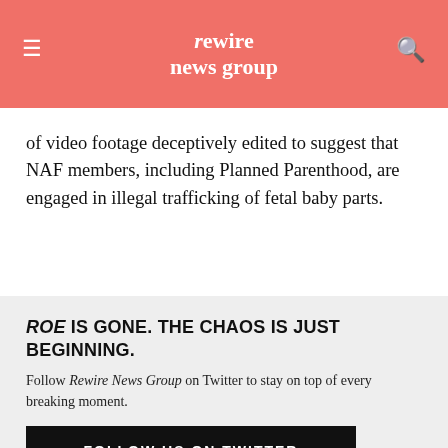rewire news group
of video footage deceptively edited to suggest that NAF members, including Planned Parenthood, are engaged in illegal trafficking of fetal baby parts.
ROE IS GONE. THE CHAOS IS JUST BEGINNING.
Follow Rewire News Group on Twitter to stay on top of every breaking moment.
FOLLOW US ON TWITTER
NAF also sought a temporary restraining order blocking any further release of the attack videos.